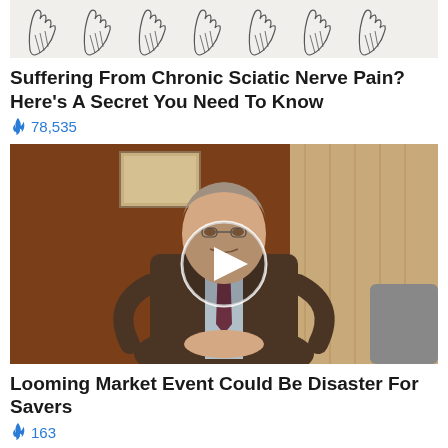[Figure (illustration): Row of foot/leg outline illustrations on a light background]
Suffering From Chronic Sciatic Nerve Pain? Here's A Secret You Need To Know
🔥 78,535
[Figure (screenshot): Video thumbnail showing a middle-aged man in a suit sitting in an office setting with a play button overlay]
Looming Market Event Could Be Disaster For Savers
🔥 163